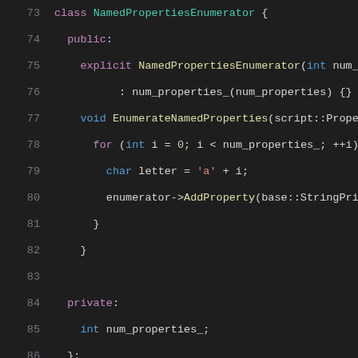[Figure (screenshot): Source code screenshot showing C++ code with syntax highlighting. Lines 73-93 visible. Dark background IDE theme with colored syntax. Shows class NamedPropertiesEnumerator definition and TEST_F function beginning.]